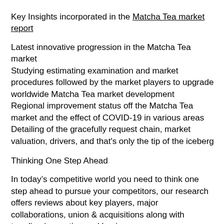Key Insights incorporated in the Matcha Tea market report
Latest innovative progression in the Matcha Tea market
Studying estimating examination and market procedures followed by the market players to upgrade worldwide Matcha Tea market development
Regional improvement status off the Matcha Tea market and the effect of COVID-19 in various areas
Detailing of the gracefully request chain, market valuation, drivers, and that's only the tip of the iceberg
Thinking One Step Ahead
In today’s competitive world you need to think one step ahead to pursue your competitors, our research offers reviews about key players, major collaborations, union & acquisitions along with trending innovation and business